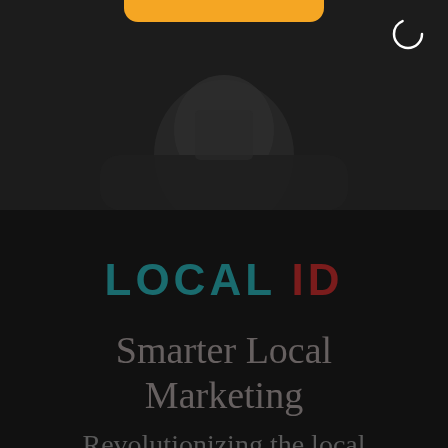[Figure (photo): Dark background photo of a person in black clothing, partially visible from neck/chest area. An orange rounded-bottom bar appears at the top center, and a circular loading/ring icon appears in the top right corner.]
[Figure (logo): LOCAL ID logo text — LOCAL in dark teal, ID in dark red, bold uppercase sans-serif on dark background.]
Smarter Local Marketing
Revolutionizing the local